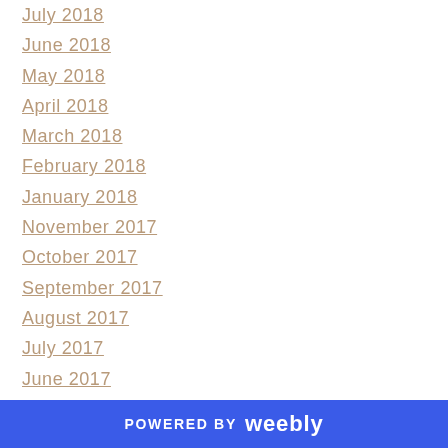July 2018
June 2018
May 2018
April 2018
March 2018
February 2018
January 2018
November 2017
October 2017
September 2017
August 2017
July 2017
June 2017
May 2017
April 2017
March 2017
February 2017
POWERED BY weebly